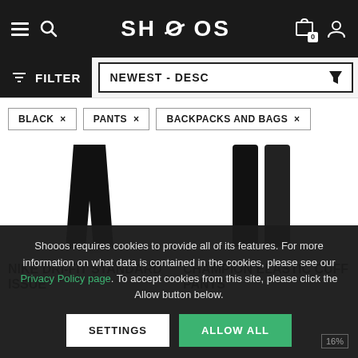SHOOOS navigation bar with hamburger menu, search, logo, cart (0), user icon
FILTER | NEWEST - DESC
BLACK ×
PANTS ×
BACKPACKS AND BAGS ×
[Figure (photo): Nike Dri-Fit Standard Issue black pants product image]
[Figure (photo): Champion Elastic Cuff Pants black product image]
NIKE DRI-FIT STANDARD ISSUE
CHAMPION ELASTIC CUFF PANTS
Shooos requires cookies to provide all of its features. For more information on what data is contained in the cookies, please see our Privacy Policy page. To accept cookies from this site, please click the Allow button below.